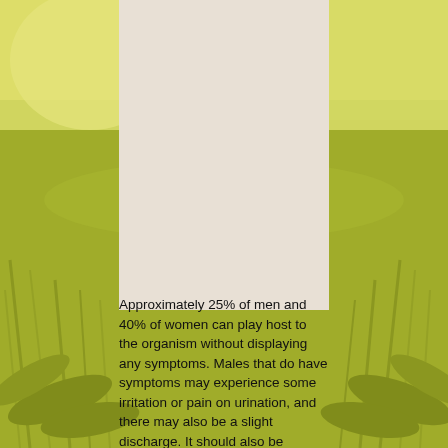[Figure (photo): Background photo of a green wheat/grain field with yellow-green tint and bright sky, with a beige/tan rectangular panel overlaid in the center top portion of the image.]
Approximately 25% of men and 40% of women can play host to the organism without displaying any symptoms. Males that do have symptoms may experience some irritation or pain on urination, and there may also be a slight discharge. It should also be considered as a possible cause of such problems in the male reproductive tract as prostatic infections or non-specific urinary